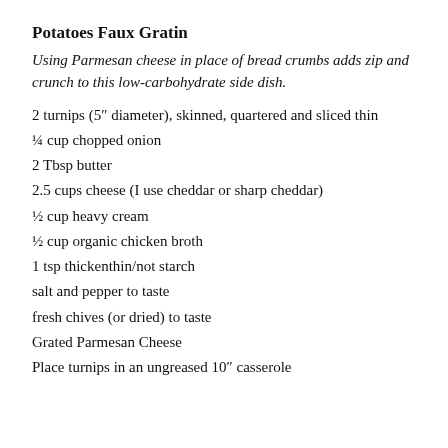Potatoes Faux Gratin
Using Parmesan cheese in place of bread crumbs adds zip and crunch to this low-carbohydrate side dish.
2 turnips (5″ diameter), skinned, quartered and sliced thin
¼ cup chopped onion
2 Tbsp butter
2.5 cups cheese (I use cheddar or sharp cheddar)
½ cup heavy cream
½ cup organic chicken broth
1 tsp thickenthin/not starch
salt and pepper to taste
fresh chives (or dried) to taste
Grated Parmesan Cheese
Place turnips in an ungreased 10″ casserole